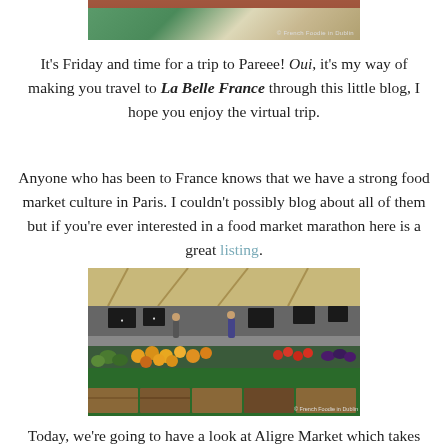[Figure (photo): Top cropped photo of a market stall with green tent/awning and red bar, watermark reading '© French Foodie in Dublin']
It's Friday and time for a trip to Pareee! Oui, it's my way of making you travel to La Belle France through this little blog, I hope you enjoy the virtual trip.
Anyone who has been to France knows that we have a strong food market culture in Paris. I couldn't possibly blog about all of them but if you're ever interested in a food market marathon here is a great listing.
[Figure (photo): Outdoor French food market stall (Aligre Market) with colorful fruits and vegetables displayed under a canvas awning, chalkboard price signs, people browsing, watermark reading '© French Foodie in Dublin']
Today, we're going to have a look at Aligre Market which takes place